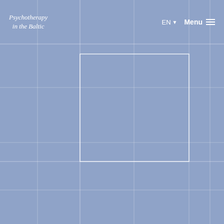Psychotherapy in the Baltic
[Figure (screenshot): Website screenshot of 'Psychotherapy in the Baltic' showing a navigation header with logo on the left, language selector (EN) and Menu button on the right, over a blue-gray grid-patterned background with a large white-bordered rectangle in the center.]